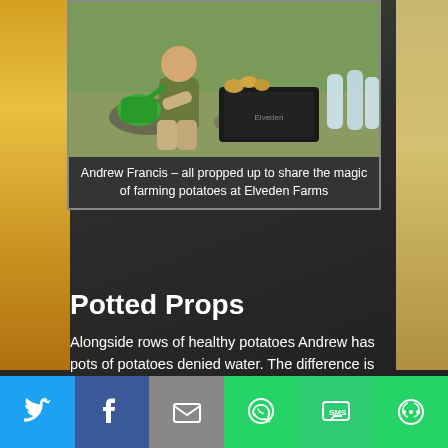[Figure (photo): Andrew Francis sitting outdoors with a green watering can, potatoes and water bottles beside him at Elveden Farms]
Andrew Francis – all propped up to share the magic of farming potatoes at Elveden Farms
Potted Props
Alongside rows of healthy potatoes Andrew has pots of potatoes denied water. The difference is dramatic: drooping, stressed leaves. Digging up the developing roots clearly demonstrates the devastating effect water shortage has on the number and size of tubers.
Soil samples
Letting his Breckland soil run through his fingers, he shows that it is perfect for…